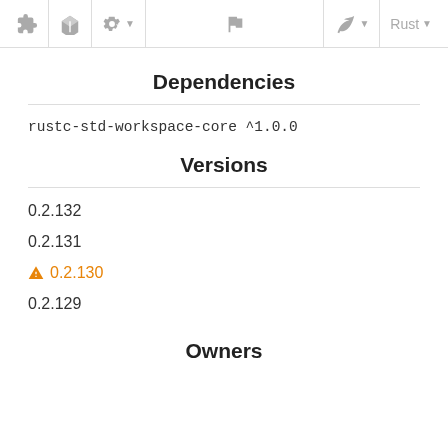[toolbar with icons: puzzle, box, settings▼, flag, leaf▼, Rust▼]
Dependencies
rustc-std-workspace-core ^1.0.0
Versions
0.2.132
0.2.131
⚠ 0.2.130
0.2.129
Owners